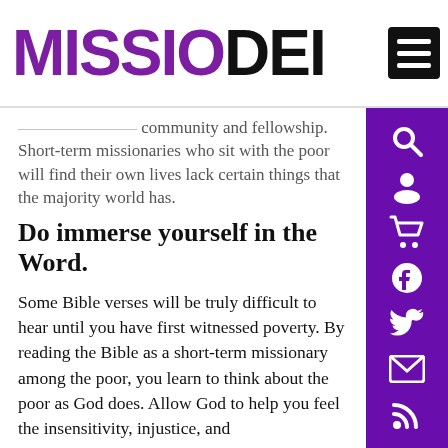MISSIO DEI
...they have and can, for example, a sense of community and fellowship. Short-term missionaries who sit with the poor will find their own lives lack certain things that the majority world has.
Do immerse yourself in the Word.
Some Bible verses will be truly difficult to hear until you have first witnessed poverty. By reading the Bible as a short-term missionary among the poor, you learn to think about the poor as God does. Allow God to help you feel the insensitivity, injustice, and